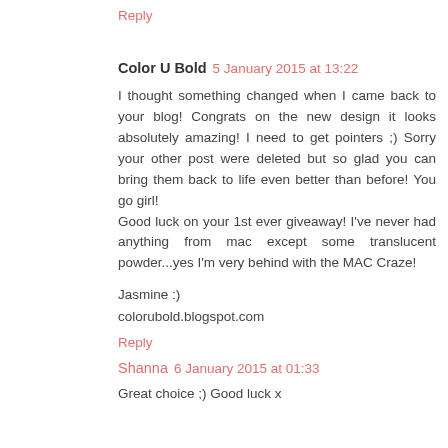Reply
Color U Bold  5 January 2015 at 13:22
I thought something changed when I came back to your blog! Congrats on the new design it looks absolutely amazing! I need to get pointers ;) Sorry your other post were deleted but so glad you can bring them back to life even better than before! You go girl!
Good luck on your 1st ever giveaway! I've never had anything from mac except some translucent powder...yes I'm very behind with the MAC Craze!
Jasmine :)
colorubold.blogspot.com
Reply
Shanna  6 January 2015 at 01:33
Great choice ;) Good luck x